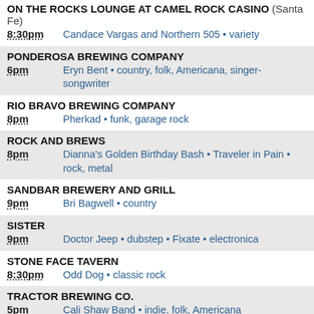ON THE ROCKS LOUNGE AT CAMEL ROCK CASINO (Santa Fe)
8:30pm  Candace Vargas and Northern 505 • variety
PONDEROSA BREWING COMPANY
6pm  Eryn Bent • country, folk, Americana, singer-songwriter
RIO BRAVO BREWING COMPANY
8pm  Pherkad • funk, garage rock
ROCK AND BREWS
8pm  Dianna's Golden Birthday Bash • Traveler in Pain • rock, metal
SANDBAR BREWERY AND GRILL
9pm  Bri Bagwell • country
SISTER
9pm  Doctor Jeep • dubstep • Fixate • electronica
STONE FACE TAVERN
8:30pm  Odd Dog • classic rock
TRACTOR BREWING CO.
5pm  Cali Shaw Band • indie, folk, Americana
TRACTOR BREWING FOUR HILLS
7pm  Melissa Rios • singer-songwriter
TRACTOR BREWING WELLS PARK